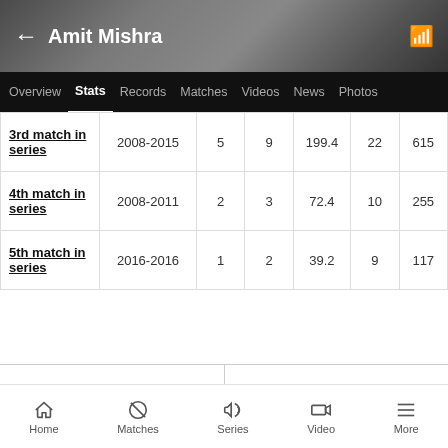← Amit Mishra
Overview  Stats  Records  Matches  Videos  News  Photos
|  |  |  |  |  |  |  |
| --- | --- | --- | --- | --- | --- | --- |
| 3rd match in series | 2008-2015 | 5 | 9 | 199.4 | 22 | 615 |
| 4th match in series | 2008-2011 | 2 | 3 | 72.4 | 10 | 255 |
| 5th match in series | 2016-2016 | 1 | 2 | 39.2 | 9 | 117 |
Test  ∨    Bowling  ∨
Home  Matches  Series  Video  More